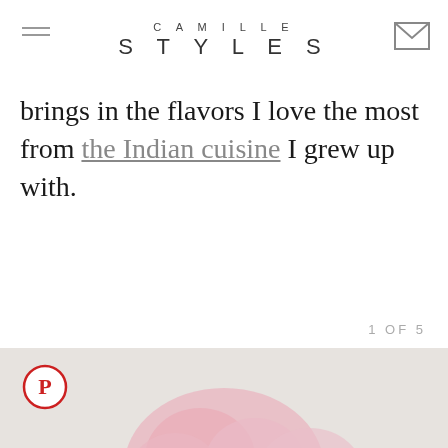CAMILLE STYLES
brings in the flavors I love the most from the Indian cuisine I grew up with.
1 OF 5
[Figure (photo): Blurred pink roses in a white vase on a light grey background, with a Pinterest icon overlay in the top left corner.]